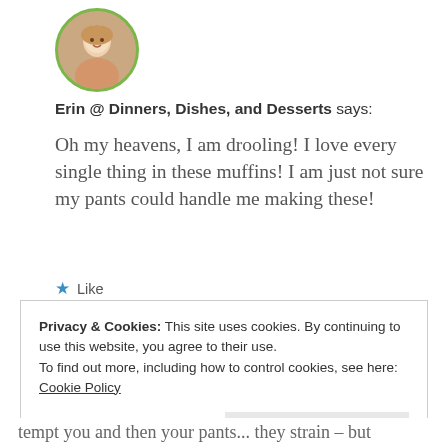[Figure (photo): Circular avatar photo of a woman with blonde hair, bordered with a green circle]
Erin @ Dinners, Dishes, and Desserts says:
Oh my heavens, I am drooling! I love every single thing in these muffins! I am just not sure my pants could handle me making these!
★ Like
January 28, 2012 at 12:12 am
« REPLY
Privacy & Cookies: This site uses cookies. By continuing to use this website, you agree to their use.
To find out more, including how to control cookies, see here:
Cookie Policy

Close and accept
tempt you and then your pants... they strain – but